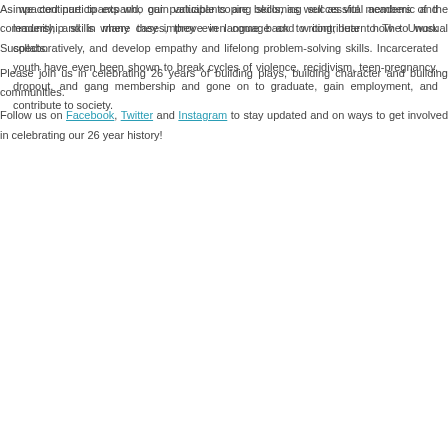impacted participants who gain valuable coping skills, as well as vital academic and leadership skills where they improve in language and writing, learn how to work collaboratively, and develop empathy and lifelong problem-solving skills. Incarcerated youth have even been shown to break cycles of violence, recidivism, teen-pregnancy, dropout, and gang membership and gone on to graduate, gain employment, and contribute to society.
As we continue to expand, our participants are becoming successful members of the community, and in many cases, they even come back to contribute to The Unusual Suspects.
Please join us in celebrating 26 years of building plays, building character and building communities.
Follow us on Facebook, Twitter and Instagram to stay updated and on ways to get involved in celebrating our 26 year history!